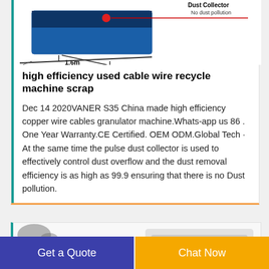[Figure (illustration): Partial engineering diagram of a cable wire recycling machine showing a blue machine body with a red dot, measurement label '1.6m', and a label reading 'Dust Collector No dust pollution' in top right.]
high efficiency used cable wire recycle machine scrap
Dec 14 2020VANER S35 China made high efficiency copper wire cables granulator machine.Whats-app us 86 . One Year Warranty.CE Certified. OEM ODM.Global Tech · At the same time the pulse dust collector is used to effectively control dust overflow and the dust removal efficiency is as high as 99.9 ensuring that there is no Dust pollution.
[Figure (photo): Partial photo showing metal granules/fragments and what appears to be machinery, cropped at bottom of visible area.]
Get a Quote
Chat Now